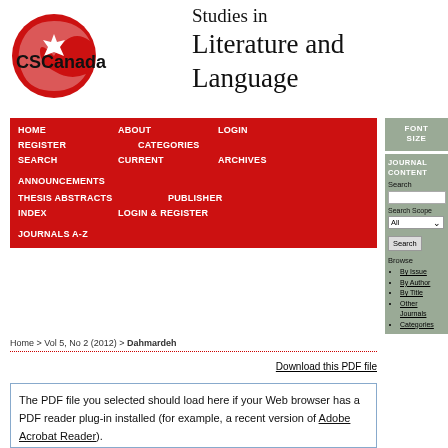[Figure (logo): CSCanada logo: red circular swirl with maple leaf, followed by 'CSCanada' text]
Studies in Literature and Language
[Figure (screenshot): Red navigation bar with menu items: HOME, ABOUT, LOGIN, REGISTER, CATEGORIES, SEARCH, CURRENT, ARCHIVES, ANNOUNCEMENTS, THESIS ABSTRACTS, PUBLISHER, INDEX, LOGIN & REGISTER, JOURNALS A-Z]
[Figure (screenshot): Right sidebar with FONT SIZE box, JOURNAL CONTENT box with Search field, Search Scope dropdown (All), Search button, Browse section with links: By Issue, By Author, By Title, Other Journals, Categories]
Home > Vol 5, No 2 (2012) > Dahmardeh
Download this PDF file
The PDF file you selected should load here if your Web browser has a PDF reader plug-in installed (for example, a recent version of Adobe Acrobat Reader).